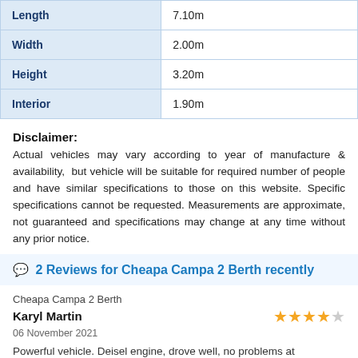| Length | 7.10m |
| Width | 2.00m |
| Height | 3.20m |
| Interior | 1.90m |
Disclaimer: Actual vehicles may vary according to year of manufacture & availability, but vehicle will be suitable for required number of people and have similar specifications to those on this website. Specific specifications cannot be requested. Measurements are approximate, not guaranteed and specifications may change at any time without any prior notice.
2 Reviews for Cheapa Campa 2 Berth recently
Cheapa Campa 2 Berth
Karyl Martin
06 November 2021
Powerful vehicle. Deisel engine, drove well, no problems at